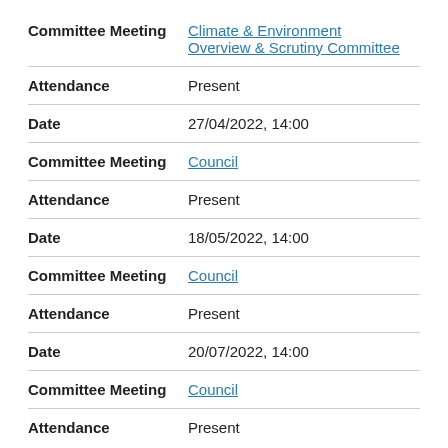| Field | Value |
| --- | --- |
| Committee Meeting | Climate & Environment Overview & Scrutiny Committee |
| Attendance | Present |
| Date | 27/04/2022, 14:00 |
| Committee Meeting | Council |
| Attendance | Present |
| Date | 18/05/2022, 14:00 |
| Committee Meeting | Council |
| Attendance | Present |
| Date | 20/07/2022, 14:00 |
| Committee Meeting | Council |
| Attendance | Present |